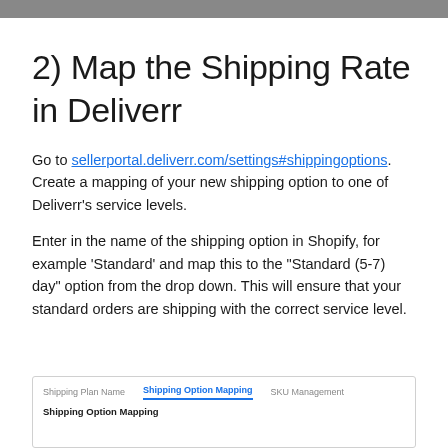2) Map the Shipping Rate in Deliverr
Go to sellerportal.deliverr.com/settings#shippingoptions. Create a mapping of your new shipping option to one of Deliverr's service levels.
Enter in the name of the shipping option in Shopify, for example 'Standard' and map this to the "Standard (5-7) day" option from the drop down. This will ensure that your standard orders are shipping with the correct service level.
[Figure (screenshot): Screenshot of the Deliverr seller portal showing tabs: 'Shipping Plan Name', 'Shipping Option Mapping' (active, underlined in blue), 'SKU Management', and a section heading 'Shipping Option Mapping' in bold.]